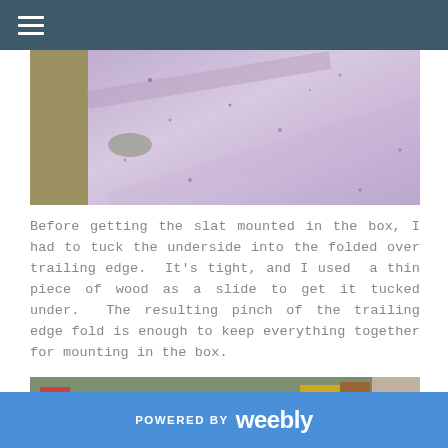☰
[Figure (photo): Close-up photo of a pinkish-purple surface (foam or insulation board) with a tan/olive wooden edge on the left side. Small dark specks scattered across the surface.]
Before getting the slat mounted in the box, I had to tuck the underside into the folded over trailing edge.  It's tight, and I used  a thin piece of wood as a slide to get it tucked under.  The resulting pinch of the trailing edge fold is enough to keep everything together for mounting in the box.
[Figure (photo): Workshop photo showing a workbench with various tools and materials. Several teal/blue slats or panels are visible hanging or leaning in the foreground. Shelving with tools and supplies visible in the background.]
POWERED BY weebly